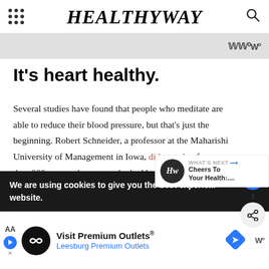HEALTHYWAY
It's heart healthy.
Several studies have found that people who meditate are able to reduce their blood pressure, but that's just the beginning. Robert Schneider, a professor at the Maharishi University of Management in Iowa, did a study of more than 200 men and women who had been diagnosed with heart disease (which p them at risk of having a heart attack or stroke). The subjects randomly assigned to either a class about healthy diet and
We are using cookies to give you the best experie... website.
WHAT'S NEXT → Cheers To Your Health:....
Visit Premium Outlets® Leesburg Premium Outlets